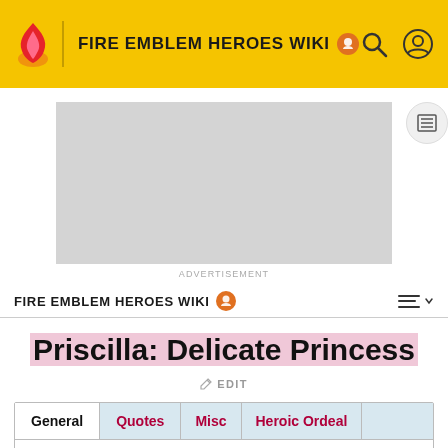FIRE EMBLEM HEROES WIKI
[Figure (screenshot): Advertisement placeholder (grey rectangle)]
ADVERTISEMENT
FIRE EMBLEM HEROES WIKI
Priscilla: Delicate Princess
EDIT
| General | Quotes | Misc | Heroic Ordeal |
| --- | --- | --- | --- |
|  |